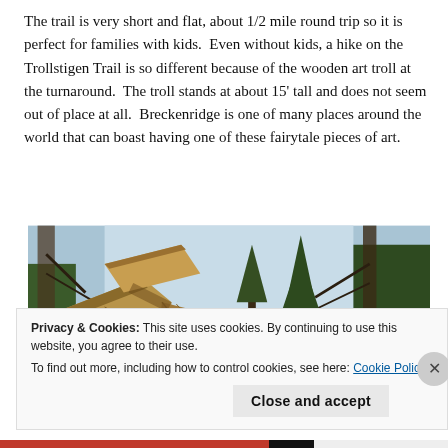The trail is very short and flat, about 1/2 mile round trip so it is perfect for families with kids.  Even without kids, a hike on the Trollstigen Trail is so different because of the wooden art troll at the turnaround.  The troll stands at about 15' tall and does not seem out of place at all.  Breckenridge is one of many places around the world that can boast having one of these fairytale pieces of art.
[Figure (photo): Photograph of a large wooden troll sculpture made of angular timber planks, viewed from below against a backdrop of tall pine trees and sky.]
Privacy & Cookies: This site uses cookies. By continuing to use this website, you agree to their use.
To find out more, including how to control cookies, see here: Cookie Policy
Close and accept